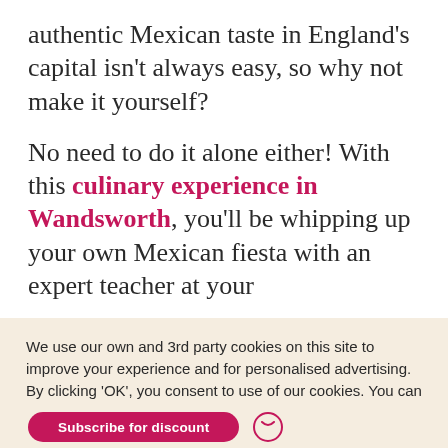authentic Mexican taste in England's capital isn't always easy, so why not make it yourself?
No need to do it alone either! With this culinary experience in Wandsworth, you'll be whipping up your own Mexican fiesta with an expert teacher at your
We use our own and 3rd party cookies on this site to improve your experience and for personalised advertising. By clicking 'OK', you consent to use of our cookies. You can change your preferences here
OK
Subscribe for discount